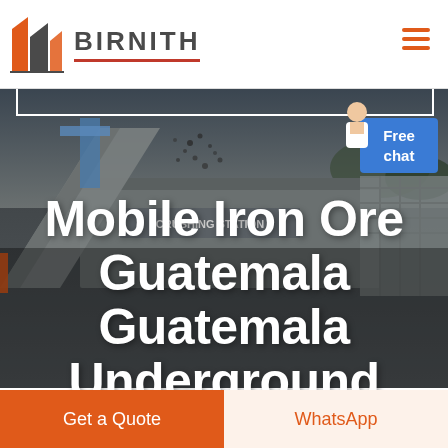[Figure (logo): Birnith company logo with orange and dark building icon and brand name BIRNITH in bold letters]
[Figure (photo): Industrial crushing station machinery with conveyor belt in dark grey/blue tones, overhead view showing ore falling]
Mobile Iron Ore Guatemala Guatemala Underground